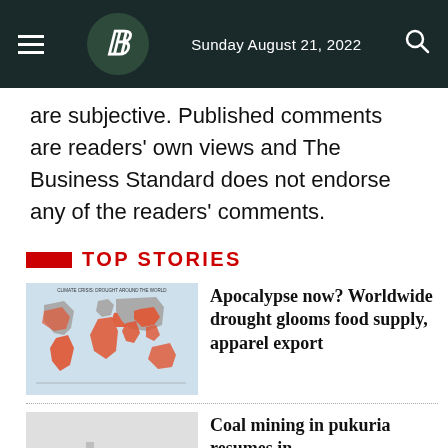The Business Standard — Sunday August 21, 2022
are subjective. Published comments are readers' own views and The Business Standard does not endorse any of the readers' comments.
Top Stories
[Figure (map): World map showing climate crisis drought affected regions highlighted in orange/red]
Apocalypse now? Worldwide drought glooms food supply, apparel export
[Figure (photo): Partial photo for second story about coal mining]
Coal mining in pukuria resumes in